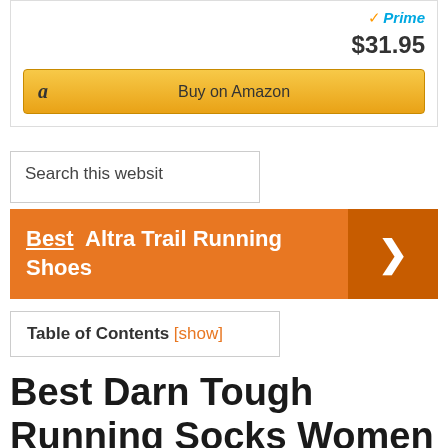[Figure (screenshot): Amazon Prime badge with checkmark and 'Prime' in blue italic text]
$31.95
[Figure (screenshot): Buy on Amazon button with Amazon logo 'a' and golden gradient background]
Search this website
Best Altra Trail Running Shoes
Table of Contents [show]
Best Darn Tough Running Socks Women Comparative Reviews